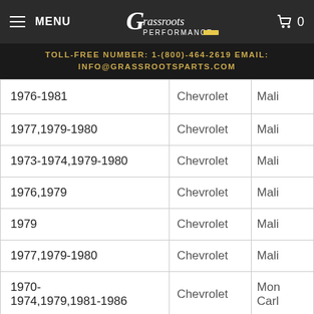MENU | Grassroots Performance | Cart 0
TOLL-FREE NUMBER: 1-(800)-464-2619 EMAIL: INFO@GRASSROOTSPARTS.COM
| Year | Make | Model |
| --- | --- | --- |
| 1976-1981 | Chevrolet | Mali... |
| 1977,1979-1980 | Chevrolet | Mali... |
| 1973-1974,1979-1980 | Chevrolet | Mali... |
| 1976,1979 | Chevrolet | Mali... |
| 1979 | Chevrolet | Mali... |
| 1977,1979-1980 | Chevrolet | Mali... |
| 1970-1974,1979,1981-1986 | Chevrolet | Monte Carlo |
| 1983 | Chevrolet | Mon... |